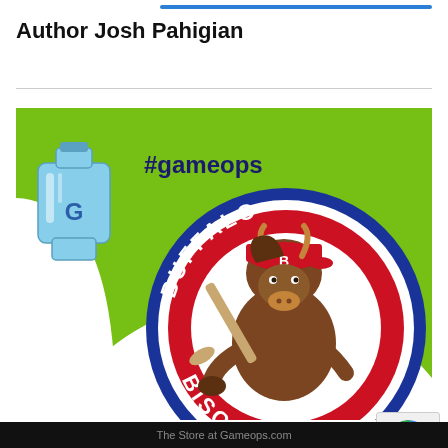Author Josh Pahigian
[Figure (illustration): Article card with green background, water cooler bottle icon with letter G, #gameops text label, and Buffalo Bisons baseball team logo (circular logo with bison mascot holding a bat, text reading BUFFALO BISONS in red and navy)]
AUGUST 20, 2019
0 comments
The Store at Gameops.com